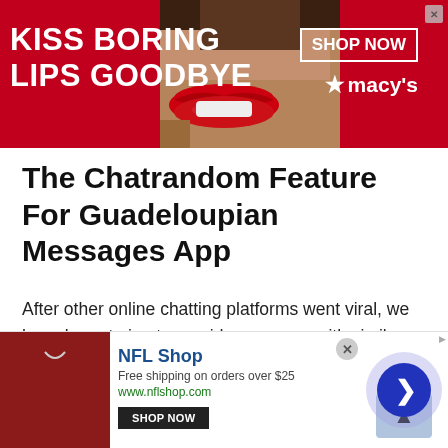[Figure (photo): Top banner advertisement for Macy's with red background, woman's lips photo, text 'KISS BORING LIPS GOODBYE', 'SHOP NOW' button, Macy's star logo]
The Chatrandom Feature For Guadeloupian Messages App
After other online chatting platforms went viral, we have been trying to provide our users with similar features to the famous online video chatting sites such as Chatroulette, Chatrandom, and omegle chat , etc. Hence, our online video chatting platform has seen an increase in the number of daily users. With over 800 000 users per
[Figure (photo): Bottom banner advertisement for NFL Shop showing red jersey, 'Free shipping on orders over $25', 'www.nflshop.com', 'SHOP NOW' button, with navigation arrow and close button]